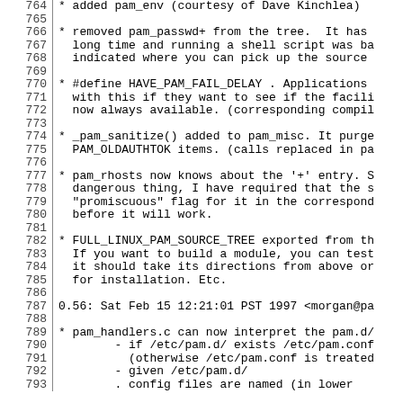764  * added pam_env (courtesy of Dave Kinchlea)
765
766  * removed pam_passwd+ from the tree.  It has
767    long time and running a shell script was ba
768    indicated where you can pick up the source
769
770  * #define HAVE_PAM_FAIL_DELAY . Applications
771    with this if they want to see if the facili
772    now always available. (corresponding compil
773
774  * _pam_sanitize() added to pam_misc. It purge
775    PAM_OLDAUTHTOK items. (calls replaced in pa
776
777  * pam_rhosts now knows about the '+' entry. S
778    dangerous thing, I have required that the s
779    "promiscuous" flag for it in the correspond
780    before it will work.
781
782  * FULL_LINUX_PAM_SOURCE_TREE exported from th
783    If you want to build a module, you can test
784    it should take its directions from above or
785    for installation. Etc.
786
787 0.56: Sat Feb 15 12:21:01 PST 1997 <morgan@pa
788
789  * pam_handlers.c can now interpret the pam.d/
790          - if /etc/pam.d/ exists /etc/pam.conf
791            (otherwise /etc/pam.conf is treated
792          - given /etc/pam.d/
793          . config files are named (in lower